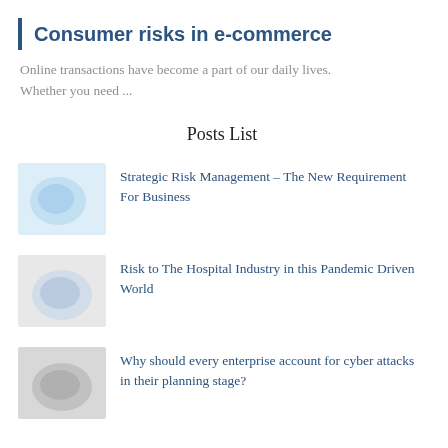Consumer risks in e-commerce
Online transactions have become a part of our daily lives. Whether you need ...
Posts List
Strategic Risk Management – The New Requirement For Business
Risk to The Hospital Industry in this Pandemic Driven World
Why should every enterprise account for cyber attacks in their planning stage?